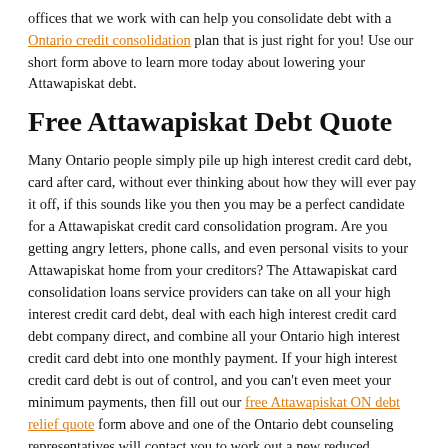offices that we work with can help you consolidate debt with a Ontario credit consolidation plan that is just right for you! Use our short form above to learn more today about lowering your Attawapiskat debt.
Free Attawapiskat Debt Quote
Many Ontario people simply pile up high interest credit card debt, card after card, without ever thinking about how they will ever pay it off, if this sounds like you then you may be a perfect candidate for a Attawapiskat credit card consolidation program. Are you getting angry letters, phone calls, and even personal visits to your Attawapiskat home from your creditors? The Attawapiskat card consolidation loans service providers can take on all your high interest credit card debt, deal with each high interest credit card debt company direct, and combine all your Ontario high interest credit card debt into one monthly payment. If your high interest credit card debt is out of control, and you can't even meet your minimum payments, then fill out our free Attawapiskat ON debt relief quote form above and one of the Ontario debt counseling representatives will contact you to work out a new reduced payment plan for all your credit card loans, bills, unsecured loans and other high interest credit card debt. This free debt relief in Attawapiskat ON service could save you 50% or more in monthly high interest credit card debt payments.